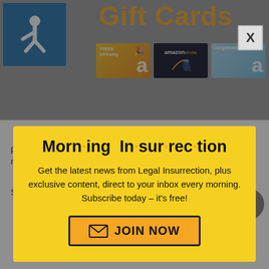[Figure (screenshot): Amazon Gift Cards promotional banner showing birthday, Kindle, and Congratulations gift card designs with orange 'Gift Cards' title text]
[Figure (infographic): Morning Insurrection modal popup overlay on a website. Yellow background with bold title 'Morn·ing In·sur·rec·tion', subscription text, and orange JOIN NOW button with envelope icon. Semi-transparent dark backdrop covers page content.]
proposals, held 30 campaign events and visited nearly a dozen states.
Since announcing his 2020 run, Beto O'Rourke